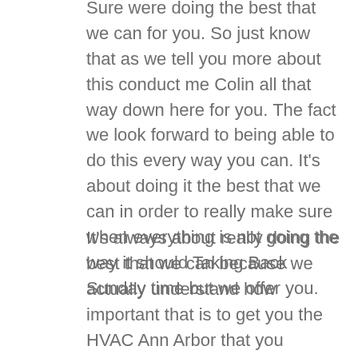Sure were doing the best that we can for you. So just know that as we tell you more about this conduct me Colin all that way down here for you. The fact we look forward to being able to do this every way you can. It's about doing it the best that we can in order to really make sure when everything is not going the way it should Taking Back Sunday time but we offer you.
It's always about really doing the best that we can because we actually understand how important that is to get you the HVAC Ann Arbor that you deserve. Just know that it's important to us that were always able to help our customers what these experiences and really make sure that they're getting all they need. In fact we look forward to being able to